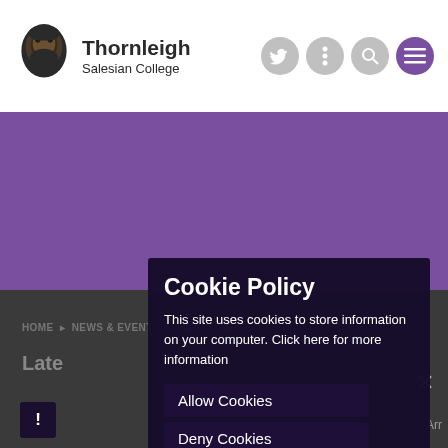Thornleigh Salesian College
[Figure (screenshot): Purple banner hero image area]
HOME > NEWS & EVENTS > LATEST NEWS
Latest
Cookie Policy
This site uses cookies to store information on your computer. Click here for more information
Allow Cookies
Deny Cookies